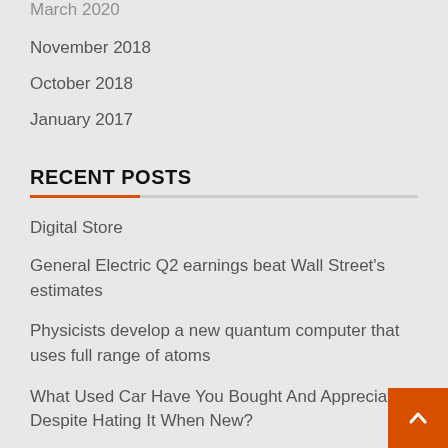March 2020
November 2018
October 2018
January 2017
RECENT POSTS
Digital Store
General Electric Q2 earnings beat Wall Street's estimates
Physicists develop a new quantum computer that uses full range of atoms
What Used Car Have You Bought And Appreciated Despite Hating It When New?